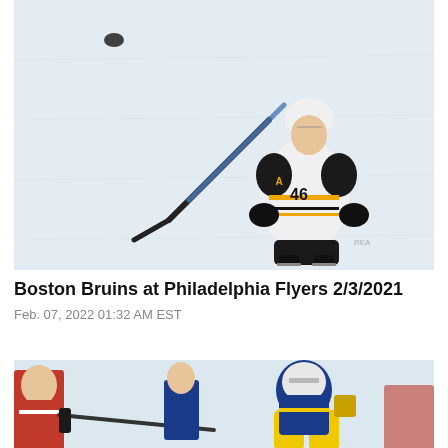[Figure (photo): Boston Bruins player #46 in white and black uniform shooting a hockey puck on ice]
Boston Bruins at Philadelphia Flyers 2/3/2021
Feb. 07, 2022 01:32 AM EST
[Figure (photo): Two hockey players in action, one in red and one in blue/yellow uniform, goalie visible]